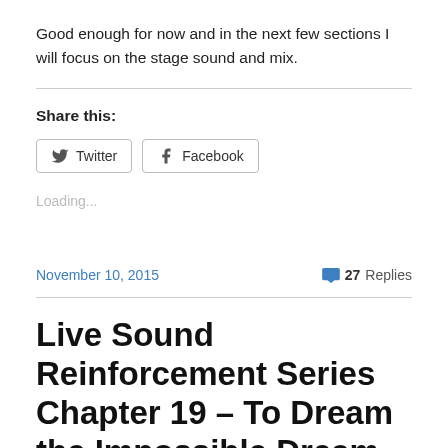Good enough for now and in the next few sections I will focus on the stage sound and mix.
Share this:
[Figure (other): Social share buttons: Twitter and Facebook]
Loading...
November 10, 2015   27 Replies
Live Sound Reinforcement Series Chapter 19 – To Dream the Impossible Dream